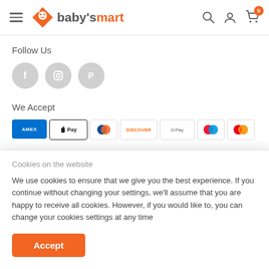baby's mart — navigation header with hamburger menu, logo, search, account, and cart icons
Follow Us
[Figure (illustration): Three social media icon circles: Facebook (f), Instagram (camera), Pinterest (P)]
We Accept
[Figure (illustration): Payment method icons: AMEX, Apple Pay, Diners Club, Discover, Google Pay, Maestro, Mastercard, PayPal, O Pay]
Cookies on the website
We use cookies to ensure that we give you the best experience. If you continue without changing your settings, we'll assume that you are happy to receive all cookies. However, if you would like to, you can change your cookies settings at any time
Accept